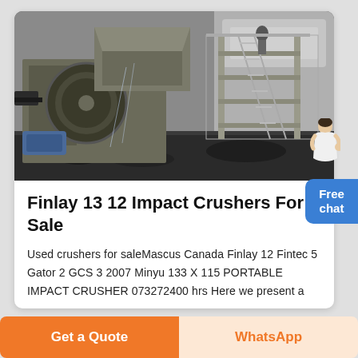[Figure (photo): Industrial impact crusher machine installed in a quarry/mining site, showing large mechanical equipment with conveyor belts, flywheel, and metal framework against a rocky wall background.]
Finlay 13 12 Impact Crushers For Sale
Used crushers for saleMascus Canada Finlay 12 Fintec 5 Gator 2 GCS 3 2007 Minyu 133 X 115 PORTABLE IMPACT CRUSHER 073272400 hrs Here we present a